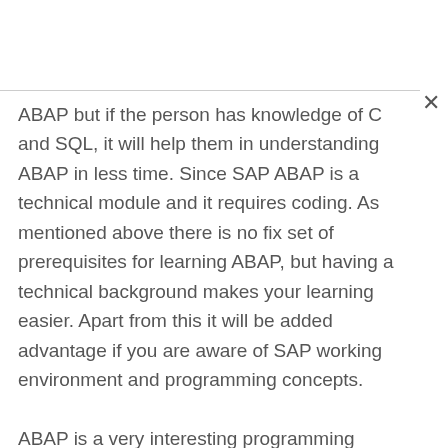ABAP but if the person has knowledge of C and SQL, it will help them in understanding ABAP in less time. Since SAP ABAP is a technical module and it requires coding. As mentioned above there is no fix set of prerequisites for learning ABAP, but having a technical background makes your learning easier. Apart from this it will be added advantage if you are aware of SAP working environment and programming concepts.

ABAP is a very interesting programming language and it has a very bright future. Its very easy to learn if you have passion for coding.